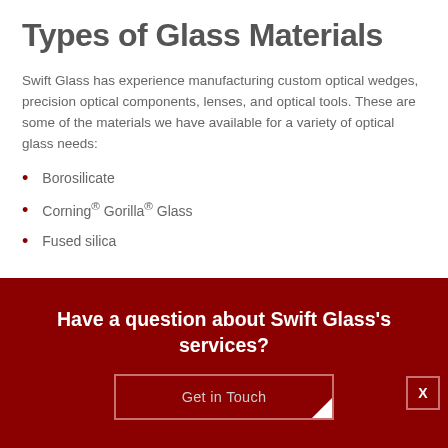Types of Glass Materials
Swift Glass has experience manufacturing custom optical wedges, precision optical components, lenses, and optical tools. These are some of the materials we have available for a variety of optical glass needs:
Borosilicate
Corning® Gorilla® Glass
Fused silica
Have a question about Swift Glass's services?
Get in Touch